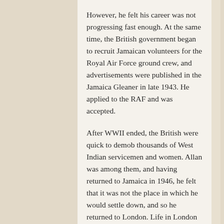However, he felt his career was not progressing fast enough. At the same time, the British government began to recruit Jamaican volunteers for the Royal Air Force ground crew, and advertisements were published in the Jamaica Gleaner in late 1943. He applied to the RAF and was accepted.
After WWII ended, the British were quick to demob thousands of West Indian servicemen and women. Allan was among them, and having returned to Jamaica in 1946, he felt that it was not the place in which he would settle down, and so he returned to London. Life in London in the Winter of 1947 was not